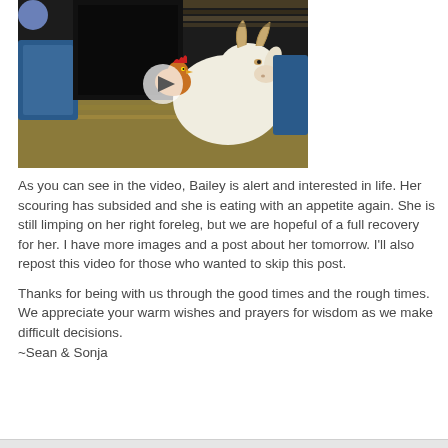[Figure (screenshot): Video thumbnail showing a white goat with horns and a chicken in a barn/farm setting with hay and blue containers. A play button is visible in the center.]
As you can see in the video, Bailey is alert and interested in life. Her scouring has subsided and she is eating with an appetite again. She is still limping on her right foreleg, but we are hopeful of a full recovery for her. I have more images and a post about her tomorrow. I'll also repost this video for those who wanted to skip this post.
Thanks for being with us through the good times and the rough times.
We appreciate your warm wishes and prayers for wisdom as we make difficult decisions.
~Sean & Sonja